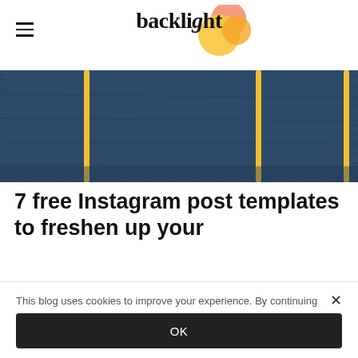backlight
[Figure (photo): Dark navy blue corrugated metal wall or fence with yellow vertical poles/posts visible from above]
7 free Instagram post templates to freshen up your
This blog uses cookies to improve your experience. By continuing to browse it, you agree to the use of cookies.
OK